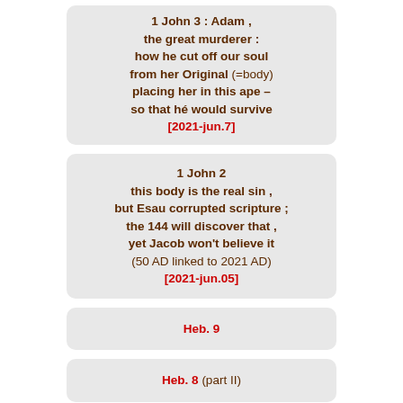1 John 3 : Adam , the great murderer : how he cut off our soul from her Original (=body) placing her in this ape – so that hé would survive [2021-jun.7]
1 John 2 this body is the real sin , but Esau corrupted scripture ; the 144 will discover that , yet Jacob won't believe it (50 AD linked to 2021 AD) [2021-jun.05]
Heb. 9
Heb. 8 (part II)